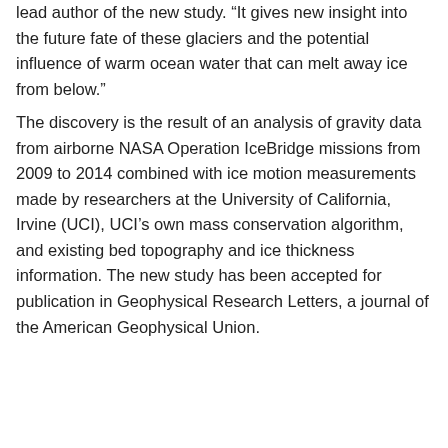lead author of the new study. “It gives new insight into the future fate of these glaciers and the potential influence of warm ocean water that can melt away ice from below.”
The discovery is the result of an analysis of gravity data from airborne NASA Operation IceBridge missions from 2009 to 2014 combined with ice motion measurements made by researchers at the University of California, Irvine (UCI), UCI’s own mass conservation algorithm, and existing bed topography and ice thickness information. The new study has been accepted for publication in Geophysical Research Letters, a journal of the American Geophysical Union.